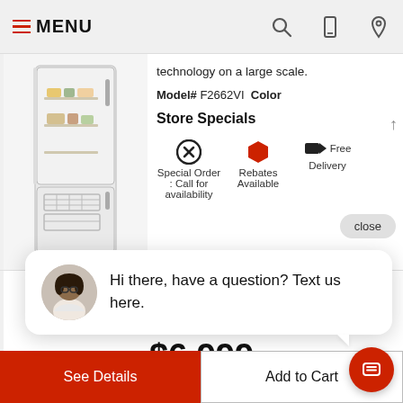MENU
technology on a large scale.
Model# F2662VI  Color
Store Specials
Special Order: Call for availability
Rebates Available
Free Delivery
[Figure (photo): Chat widget with customer service representative avatar and text: Hi there, have a question? Text us here.]
Hi there, have a question? Text us here.
$6,999
See Details
Add to Cart